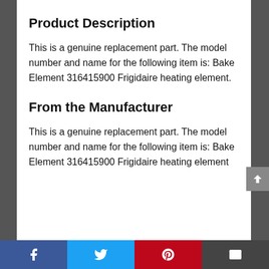Product Description
This is a genuine replacement part. The model number and name for the following item is: Bake Element 316415900 Frigidaire heating element.
From the Manufacturer
This is a genuine replacement part. The model number and name for the following item is: Bake Element 316415900 Frigidaire heating element